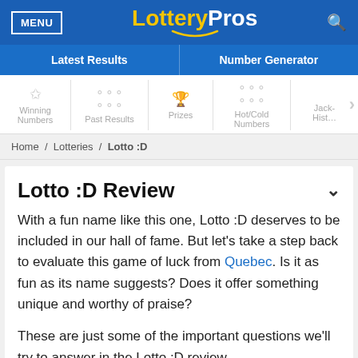MENU | LotteryPros | [search]
Latest Results | Number Generator
Winning Numbers | Past Results | Prizes | Hot/Cold Numbers | Jackpot History
Home / Lotteries / Lotto :D
Lotto :D Review
With a fun name like this one, Lotto :D deserves to be included in our hall of fame. But let's take a step back to evaluate this game of luck from Quebec. Is it as fun as its name suggests? Does it offer something unique and worthy of praise?
These are just some of the important questions we'll try to answer in the Lotto :D review.